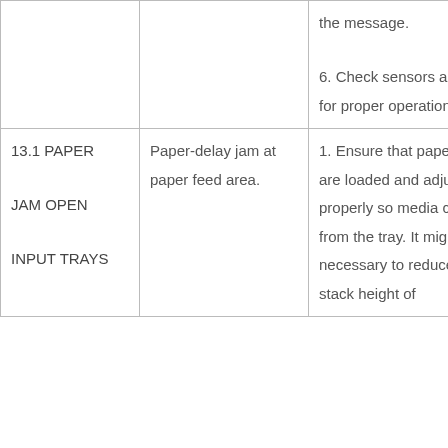| Error Code | Description | Action |
| --- | --- | --- |
|  |  | the message.

6. Check sensors and flags for proper operation. |
| 13.1 PAPER JAM OPEN INPUT TRAYS | Paper-delay jam at paper feed area. | 1. Ensure that paper trays are loaded and adjusted properly so media can feed from the tray. It might be necessary to reduce the stack height of |